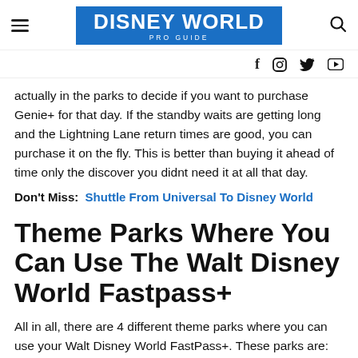DISNEY WORLD PRO GUIDE
actually in the parks to decide if you want to purchase Genie+ for that day. If the standby waits are getting long and the Lightning Lane return times are good, you can purchase it on the fly. This is better than buying it ahead of time only the discover you didnt need it at all that day.
Don't Miss: Shuttle From Universal To Disney World
Theme Parks Where You Can Use The Walt Disney World Fastpass+
All in all, there are 4 different theme parks where you can use your Walt Disney World FastPass+. These parks are: